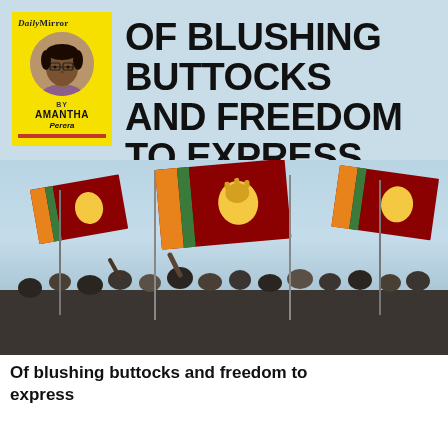[Figure (photo): Newspaper article header image: top portion shows light blue background with Daily Mirror author card (yellow box, author photo, 'BY AMANTHA Perera') on the left and large bold headline 'OF BLUSHING BUTTOCKS AND FREEDOM TO EXPRESS' on the right. Bottom portion shows a crowd of protest demonstrators waving Sri Lankan flags.]
Of blushing buttocks and freedom to express